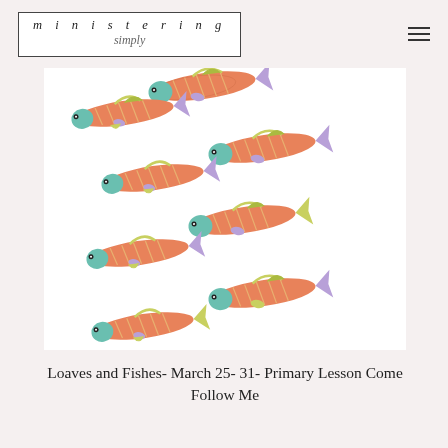ministering simply
[Figure (illustration): School of colorful cartoon fish swimming diagonally, salmon/orange colored bodies with teal heads, yellow-green and purple fins, on white background]
Loaves and Fishes- March 25- 31- Primary Lesson Come Follow Me